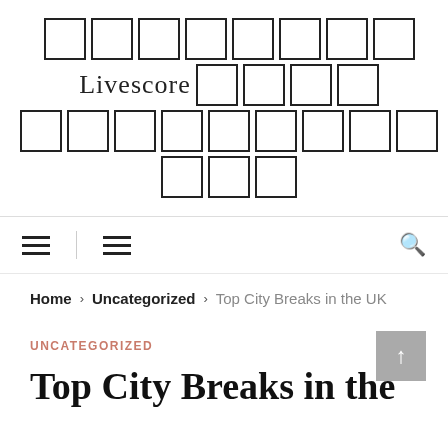[Figure (logo): Website logo with placeholder boxes (unrenderable glyphs) and the word 'Livescore' in serif font, arranged in three rows of boxes]
Navigation bar with two hamburger menu icons and a search icon
Home > Uncategorized > Top City Breaks in the UK
UNCATEGORIZED
Top City Breaks in the